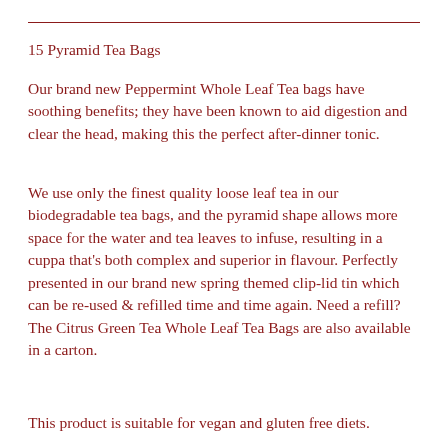15 Pyramid Tea Bags
Our brand new Peppermint Whole Leaf Tea bags have soothing benefits; they have been known to aid digestion and clear the head, making this the perfect after-dinner tonic.
We use only the finest quality loose leaf tea in our biodegradable tea bags, and the pyramid shape allows more space for the water and tea leaves to infuse, resulting in a cuppa that's both complex and superior in flavour. Perfectly presented in our brand new spring themed clip-lid tin which can be re-used & refilled time and time again. Need a refill? The Citrus Green Tea Whole Leaf Tea Bags are also available in a carton.
This product is suitable for vegan and gluten free diets.